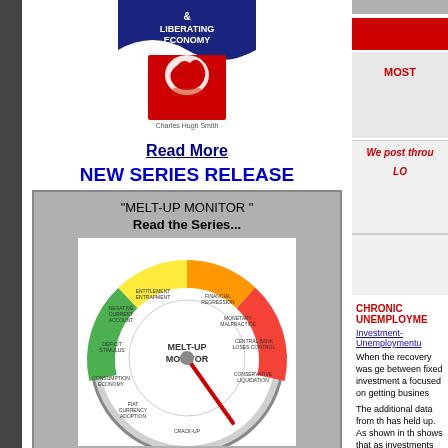[Figure (illustration): Book cover: 'Liberating Economy' by Charles Hugh Smith, showing an apple with a puzzle piece and a red wave design]
Read More
NEW SERIES RELEASE
[Figure (illustration): Melt-Up Monitor gauge image showing a circular gauge with colored segments from green (Crack-Up, Consumption Economy, Fiat Currency Adoption, Deficit Stimulus, Negative Current Account) through yellow/orange (Entitlement Entrapment, Financial Regression, Monetary Malpractice) to red (Central Bank Loses Control, Conservative Liquidation). The needle points toward the red zone.]
"MELT-UP MONITOR " Read the Series...
MOST
We post throu
LO
CHRONIC UNEMPLOYME
Investment-Unemploymentu
When the recovery was ge between fixed investment a focused on getting busines
The additional data from th has held up. As shown in th shows that as investments